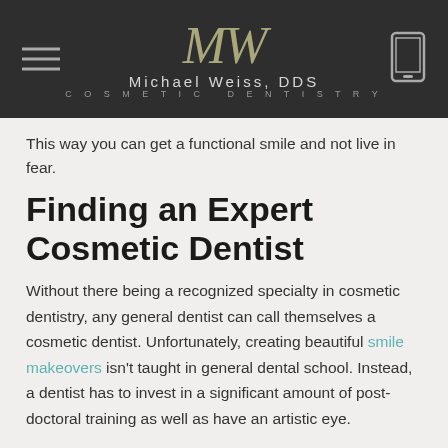Michael Weiss, DDS — Cosmetic Dentistry
This way you can get a functional smile and not live in fear.
Finding an Expert Cosmetic Dentist
Without there being a recognized specialty in cosmetic dentistry, any general dentist can call themselves a cosmetic dentist. Unfortunately, creating beautiful smile makeovers isn't taught in general dental school. Instead, a dentist has to invest in a significant amount of post-doctoral training as well as have an artistic eye.
It's almost impossible for patients to know which dentists